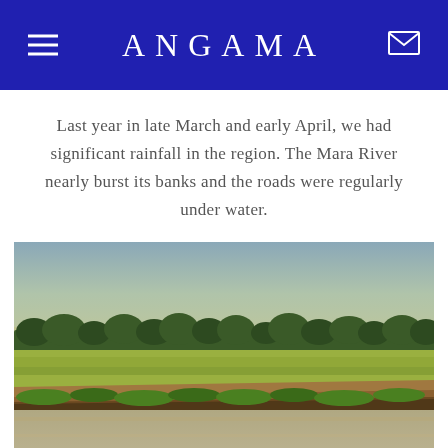ANGAMA
Last year in late March and early April, we had significant rainfall in the region. The Mara River nearly burst its banks and the roads were regularly under water.
[Figure (photo): Wide-angle photograph of the Mara River with muddy brown floodwaters in the foreground, an eroding earthen riverbank with green grass, flat golden savanna plains stretching into the distance, a line of acacia trees along the horizon, and a hazy blue-grey sky above.]